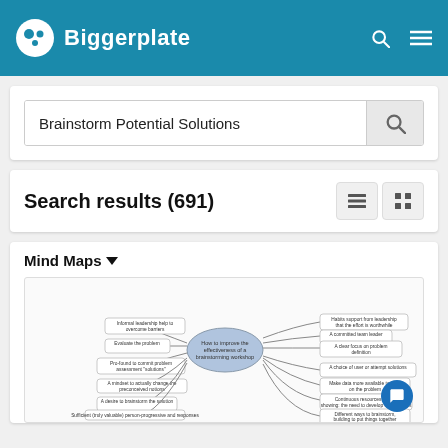Biggerplate
Brainstorm Potential Solutions
Search results (691)
Mind Maps ▾
[Figure (screenshot): Mind map preview showing brainstorming nodes related to improving effectiveness of a team]